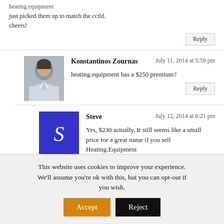heating.equipment
just picked them up to match the cctld. cheers!
Reply
Konstantinos Zournas
July 11, 2014 at 5:59 pm
heating.equipment has a $250 premium?
Reply
Steve
July 12, 2014 at 6:21 pm
Yes, $230 actually. It still seems like a small price for a great name if you sell Heating.Equipment
may renew, may not.
These are the extent of my
This website uses cookies to improve your experience. We'll assume you're ok with this, but you can opt-out if you wish. Accept Reject